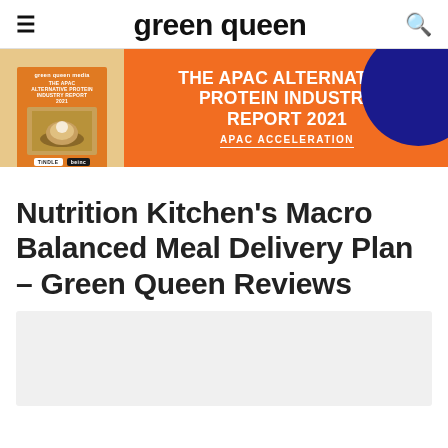green queen
[Figure (infographic): Orange banner advertisement for The APAC Alternative Protein Industry Report 2021 – APAC Acceleration, with book cover image on the left and a blue circle on the right]
Nutrition Kitchen's Macro Balanced Meal Delivery Plan – Green Queen Reviews
[Figure (photo): Light gray image placeholder at the bottom of the page]